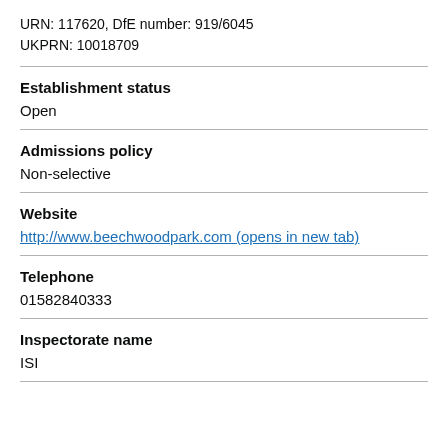URN: 117620, DfE number: 919/6045
UKPRN: 10018709
Establishment status
Open
Admissions policy
Non-selective
Website
http://www.beechwoodpark.com (opens in new tab)
Telephone
01582840333
Inspectorate name
ISI